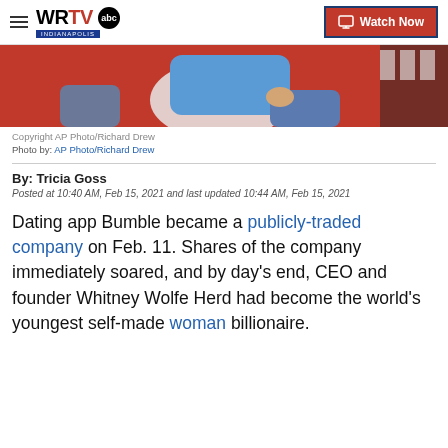WRTV Indianapolis — Watch Now
[Figure (photo): Person in blue shirt seated on a red couch, partial view of legs and torso]
Copyright AP Photo/Richard Drew
Photo by: AP Photo/Richard Drew
By: Tricia Goss
Posted at 10:40 AM, Feb 15, 2021 and last updated 10:44 AM, Feb 15, 2021
Dating app Bumble became a publicly-traded company on Feb. 11. Shares of the company immediately soared, and by day's end, CEO and founder Whitney Wolfe Herd had become the world's youngest self-made woman billionaire.